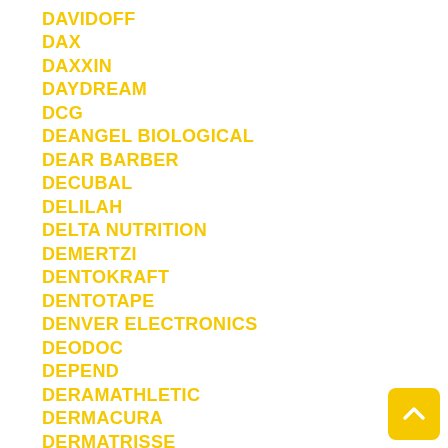DAVIDOFF
DAX
DAXXIN
DAYDREAM
DCG
DEANGEL BIOLOGICAL
DEAR BARBER
DECUBAL
DELILAH
DELTA NUTRITION
DEMERTZI
DENTOKRAFT
DENTOTAPE
DENVER ELECTRONICS
DEODOC
DEPEND
DERAMATHLETIC
DERMACURA
DERMATRISSE
DERMYN
DESERT ESSENCE
DESIVON
DETOXNER